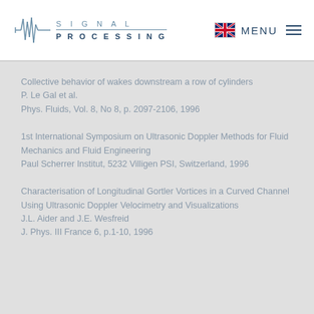[Figure (logo): Signal Processing website logo with waveform icon and text SIGNAL PROCESSING]
Collective behavior of wakes downstream a row of cylinders
P. Le Gal et al.
Phys. Fluids, Vol. 8, No 8, p. 2097-2106, 1996
1st International Symposium on Ultrasonic Doppler Methods for Fluid Mechanics and Fluid Engineering
Paul Scherrer Institut, 5232 Villigen PSI, Switzerland, 1996
Characterisation of Longitudinal Gortler Vortices in a Curved Channel Using Ultrasonic Doppler Velocimetry and Visualizations
J.L. Aider and J.E. Wesfreid
J. Phys. III France 6, p.1-10, 1996